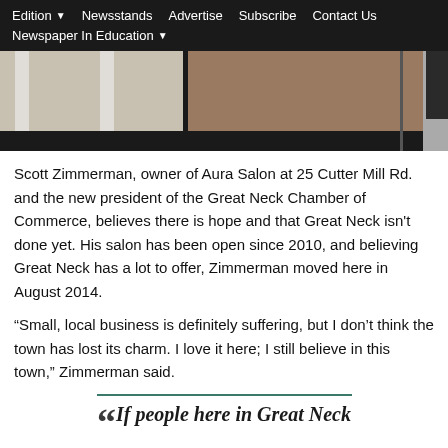Edition ▾   Newsstands   Advertise   Subscribe   Contact Us   Newspaper In Education ▾
[Figure (photo): Photo of a storefront/salon entrance with glass doors, a white wall, dark lower strip, and a partial view of a person on the right edge]
Scott Zimmerman, owner of Aura Salon at 25 Cutter Mill Rd. and the new president of the Great Neck Chamber of Commerce, believes there is hope and that Great Neck isn't done yet. His salon has been open since 2010, and believing Great Neck has a lot to offer, Zimmerman moved here in August 2014.
“Small, local business is definitely suffering, but I don’t think the town has lost its charm. I love it here; I still believe in this town,” Zimmerman said.
“If people here in Great Neck